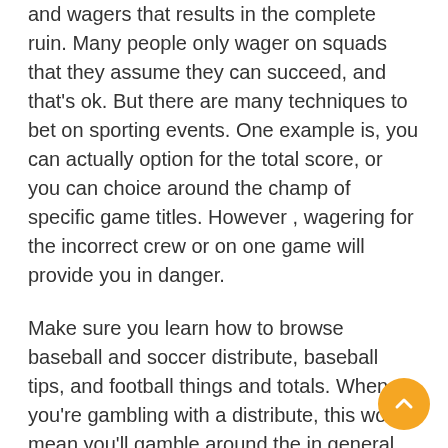and wagers that results in the complete ruin. Many people only wager on squads that they assume they can succeed, and that's ok. But there are many techniques to bet on sporting events. One example is, you can actually option for the total score, or you can choice around the champ of specific game titles. However , wagering for the incorrect crew or on one game will provide you in danger.
Make sure you learn how to browse baseball and soccer distribute, baseball tips, and football things and totals. When you're gambling with a distribute, this would mean you'll gamble around the in general score of either clubs. Baseball tips and totals will tell you who wins between your two teams. Football propagates advise you which workforce will succeed by how many factors. You need to pay